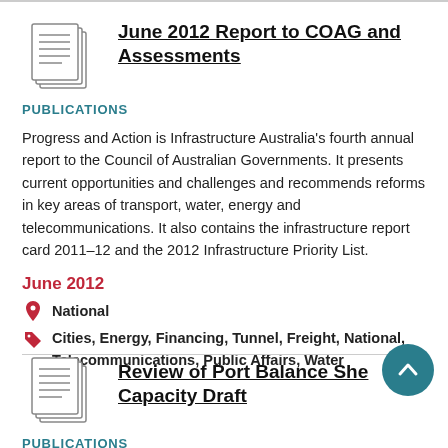[Figure (illustration): Document/report icon showing stacked pages]
June 2012 Report to COAG and Assessments
PUBLICATIONS
Progress and Action is Infrastructure Australia's fourth annual report to the Council of Australian Governments. It presents current opportunities and challenges and recommends reforms in key areas of transport, water, energy and telecommunications. It also contains the infrastructure report card 2011–12 and the 2012 Infrastructure Priority List.
June 2012
National
Cities, Energy, Financing, Tunnel, Freight, National, Telecommunications, Public Affairs, Water
[Figure (illustration): Document/report icon showing stacked pages]
Review of Port Balance Sheet Capacity Draft
PUBLICATIONS